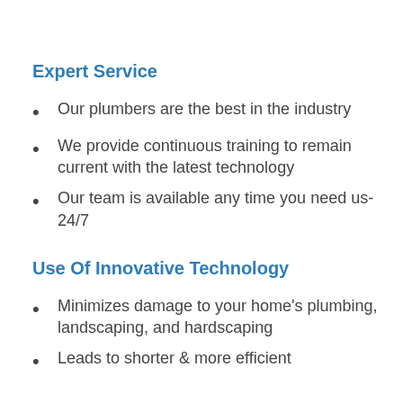Expert Service
Our plumbers are the best in the industry
We provide continuous training to remain current with the latest technology
Our team is available any time you need us- 24/7
Use Of Innovative Technology
Minimizes damage to your home's plumbing, landscaping, and hardscaping
Leads to shorter & more efficient